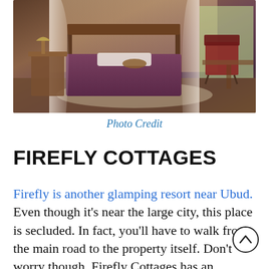[Figure (photo): Interior photo of a luxury glamping cottage with a four-poster bed with white canopy curtains, purple bedding, wooden furniture, and a camp chair by the window.]
Photo Credit
FIREFLY COTTAGES
Firefly is another glamping resort near Ubud. Even though it's near the large city, this place is secluded. In fact, you'll have to walk from the main road to the property itself. Don't worry though, Firefly Cottages has an incredible staff who will come greet